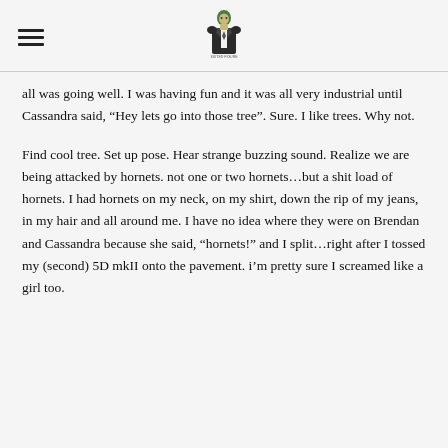[hamburger menu icon] [logo: suited figure icon]
all was going well. I was having fun and it was all very industrial until Cassandra said, “Hey lets go into those tree”. Sure. I like trees. Why not.
Find cool tree. Set up pose. Hear strange buzzing sound. Realize we are being attacked by hornets. not one or two hornets…but a shit load of hornets. I had hornets on my neck, on my shirt, down the rip of my jeans, in my hair and all around me. I have no idea where they were on Brendan and Cassandra because she said, “hornets!” and I split…right after I tossed my (second) 5D mkII onto the pavement. i’m pretty sure I screamed like a girl too.